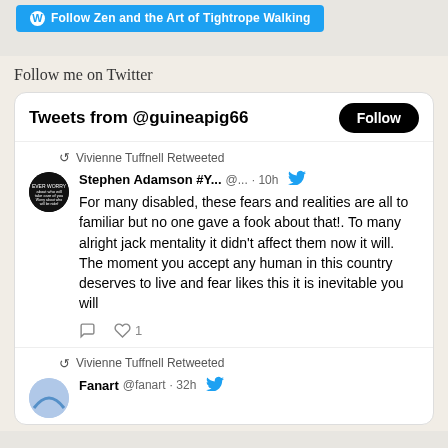[Figure (screenshot): WordPress follow button: 'Follow Zen and the Art of Tightrope Walking' in blue]
Follow me on Twitter
[Figure (screenshot): Twitter widget showing Tweets from @guineapig66 with a Follow button, and two retweeted tweets by Vivienne Tuffnell. First tweet by Stephen Adamson #Y... @... 10h: 'For many disabled, these fears and realities are all to familiar but no one gave a fook about that!. To many alright jack mentality it didn't affect them now it will. The moment you accept any human in this country deserves to live and fear likes this it is inevitable you will' with 1 like. Second tweet by Fanart @fanart 32h.]